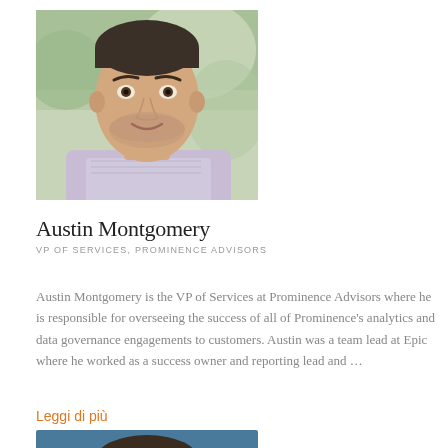[Figure (photo): Headshot photo of Austin Montgomery, a middle-aged man with short dark hair and beard stubble, wearing a light purple/white checkered shirt, smiling, with blurred green outdoor background]
Austin Montgomery
VP OF SERVICES, PROMINENCE ADVISORS
Austin Montgomery is the VP of Services at Prominence Advisors where he is responsible for overseeing the success of all of Prominence's analytics and data governance engagements to customers. Austin was a team lead at Epic where he worked as a success owner and reporting lead and …
Leggi di più
[Figure (photo): Partial headshot of another person, cropped at bottom of page, with blue/teal background]